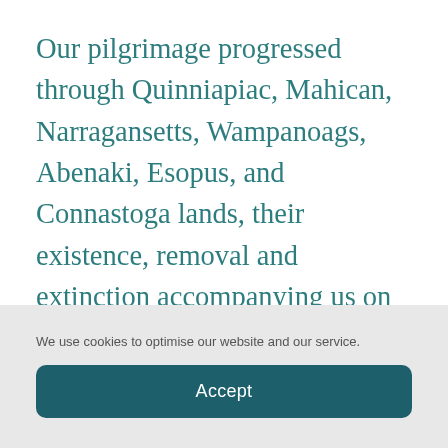Our pilgrimage progressed through Quinniapiac, Mahican, Narragansetts, Wampanoags, Abenaki, Esopus, and Connastoga lands, their existence, removal and extinction accompanying us on our journey in road signs, picnic camps, tourist stops and on road side diner menus. Yet this presence was more akin to the ghosts that we
We use cookies to optimise our website and our service.
Accept